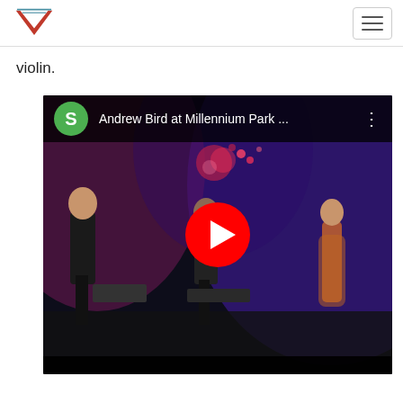violin.
[Figure (screenshot): YouTube video thumbnail showing Andrew Bird at Millennium Park concert with three performers on a purple/blue-lit stage, with red YouTube play button overlay. Video title bar reads 'Andrew Bird at Millennium Park ...']